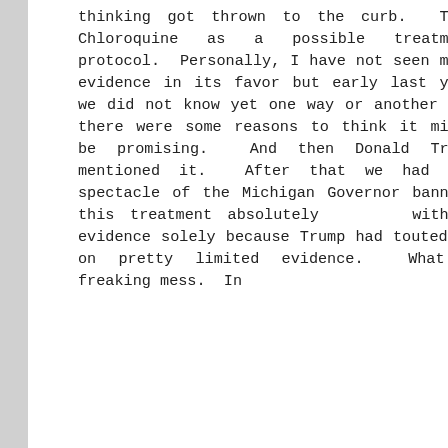thinking got thrown to the curb. Take Chloroquine as a possible treatment protocol. Personally, I have not seen much evidence in its favor but early last year we did not know yet one way or another and there were some reasons to think it might be promising. And then Donald Trump mentioned it. After that we had the spectacle of the Michigan Governor banning this treatment absolutely without evidence solely because Trump had touted it on pretty limited evidence. What a freaking mess. In